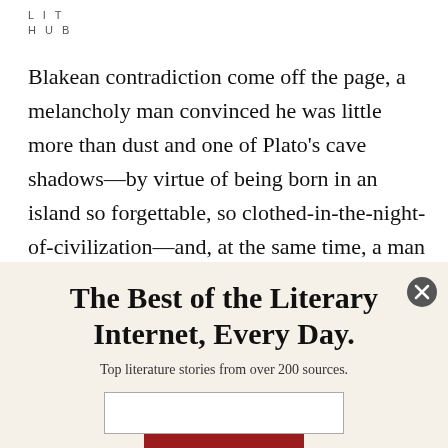LIT
HUB
Blakean contradiction come off the page, a melancholy man convinced he was little more than dust and one of Plato’s cave shadows—by virtue of being born in an island so forgettable, so clothed-in-the-night-of-civilization—and, at the same time, a man utterly certain he was
The Best of the Literary Internet, Every Day.
Top literature stories from over 200 sources.
SUBSCRIBE